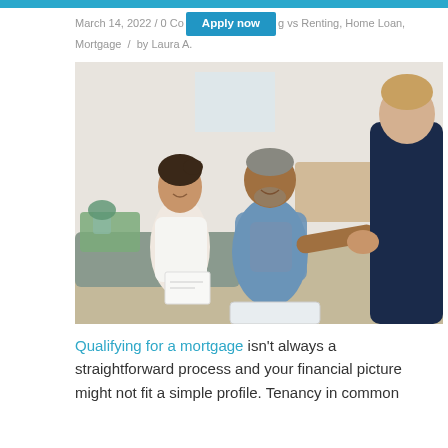March 14, 2022 / 0 Comments / Buying vs Renting, Home Loan, Mortgage / by Laura A.
[Figure (photo): A couple sitting on a couch smiling and shaking hands with a financial advisor or mortgage consultant across from them, in a home setting.]
Qualifying for a mortgage isn't always a straightforward process and your financial picture might not fit a simple profile. Tenancy in common